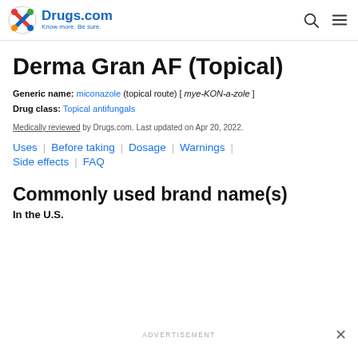Drugs.com — Know more. Be sure.
Derma Gran AF (Topical)
Generic name: miconazole (topical route) [ mye-KON-a-zole ]
Drug class: Topical antifungals
Medically reviewed by Drugs.com. Last updated on Apr 20, 2022.
Uses | Before taking | Dosage | Warnings | Side effects | FAQ
Commonly used brand name(s)
In the U.S.